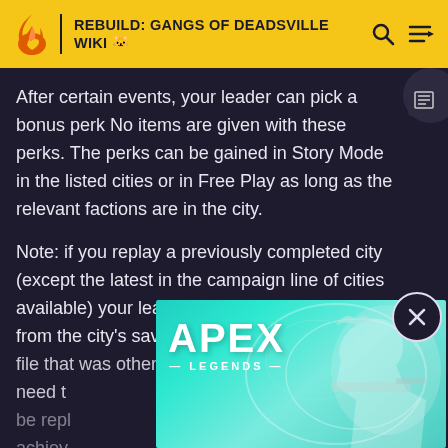REBUILD: GANGS OF DEADSVILLE WIKI
After certain events, your leader can pick a bonus perk. No items are given with these perks. The perks can be gained in Story Mode in the listed cities or in Free Play as long as the relevant factions are in the city.
Note: if you replay a previously completed city (except the latest in the campaign line of cities available) your leader can retain the perk obtained from the city's save file that was otherwise deleted. Some cities will need to be replayed to achieve... deleted... Officer and Ro... a city...
[Figure (screenshot): Apex Legends advertisement banner with teal background showing a character holding a sniper rifle, with the Apex Legends logo on the left side]